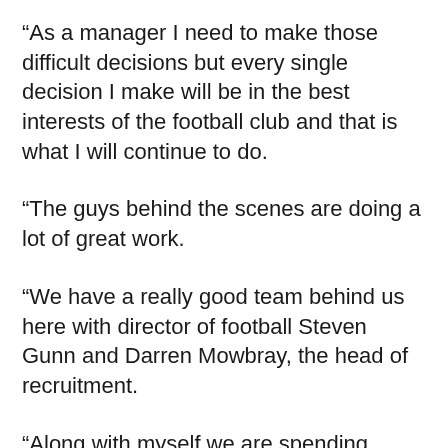“As a manager I need to make those difficult decisions but every single decision I make will be in the best interests of the football club and that is what I will continue to do.
“The guys behind the scenes are doing a lot of great work.
“We have a really good team behind us here with director of football Steven Gunn and Darren Mowbray, the head of recruitment.
“Along with myself we are spending hours and hours scouring the market to make sure we get things right in the summer.